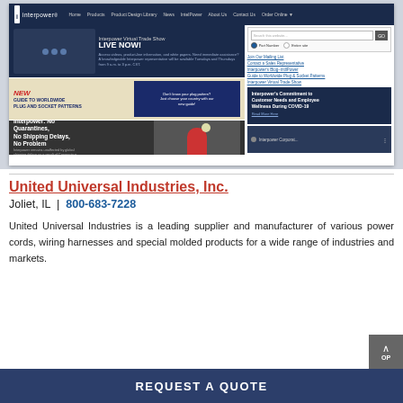[Figure (screenshot): Screenshot of Interpower website showing navigation bar, virtual trade show banner, new guide to worldwide plug and socket patterns banner, Interpower No Quarantines No Shipping Delays No Problem banner, search sidebar, and COVID-19 commitment box]
United Universal Industries, Inc.
Joliet, IL  |  800-683-7228
United Universal Industries is a leading supplier and manufacturer of various power cords, wiring harnesses and special molded products for a wide range of industries and markets.
REQUEST A QUOTE